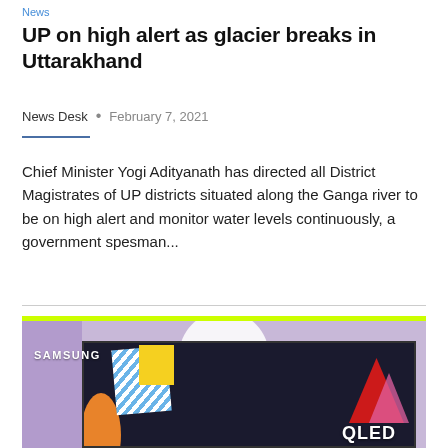News
UP on high alert as glacier breaks in Uttarakhand
News Desk  •  February 7, 2021
Chief Minister Yogi Adityanath has directed all District Magistrates of UP districts situated along the Ganga river to be on high alert and monitor water levels continuously, a government spesman...
[Figure (illustration): Samsung QLED TV advertisement banner with colorful abstract artistic display and Samsung branding]